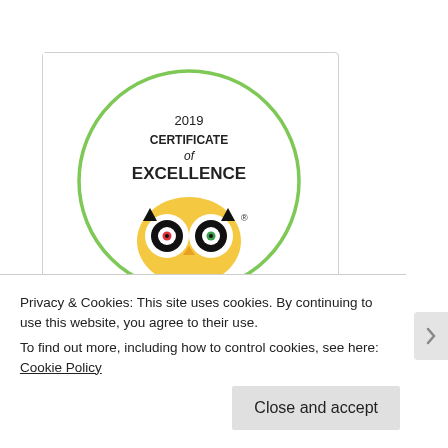[Figure (logo): TripAdvisor 2019 Certificate of Excellence badge — circular green border with owl logo and 'tripadvisor' text below]
[Figure (logo): TripAdvisor 2017 Certificate of Excellence badge — circular green border with owl logo, partially visible]
Privacy & Cookies: This site uses cookies. By continuing to use this website, you agree to their use.
To find out more, including how to control cookies, see here: Cookie Policy